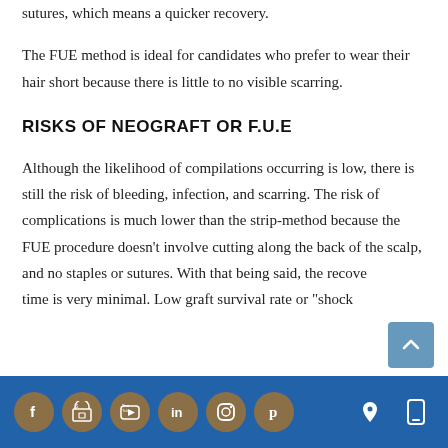sutures, which means a quicker recovery.
The FUE method is ideal for candidates who prefer to wear their hair short because there is little to no visible scarring.
RISKS OF NEOGRAFT OR F.U.E
Although the likelihood of compilations occurring is low, there is still the risk of bleeding, infection, and scarring. The risk of complications is much lower than the strip-method because the FUE procedure doesn't involve cutting along the back of the scalp, and no staples or sutures. With that being said, the recovery time is very minimal. Low graft survival rate or "shock
Social media icons: Facebook, Store, YouTube, LinkedIn, Instagram, Pinterest; Location and mobile icons on right